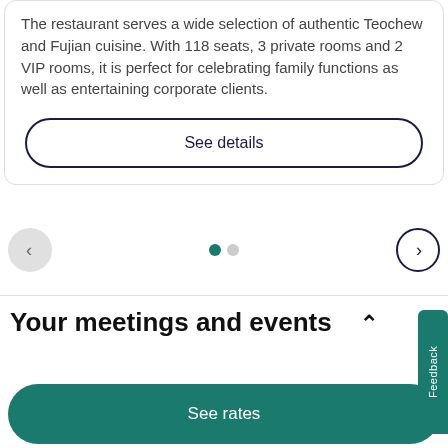The restaurant serves a wide selection of authentic Teochew and Fujian cuisine. With 118 seats, 3 private rooms and 2 VIP rooms, it is perfect for celebrating family functions as well as entertaining corporate clients.
See details
[Figure (infographic): Navigation controls: left arrow button (grey circle), two pagination dots (teal active, grey inactive), right arrow button (dark blue outlined circle)]
Your meetings and events
See rates
Feedback